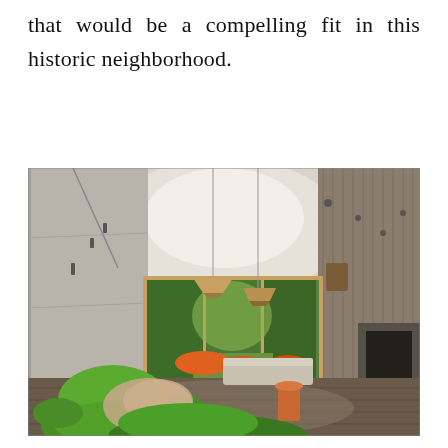that would be a compelling fit in this historic neighborhood.
[Figure (photo): Interior of a modern house with high ceilings, concrete and wood-paneled walls, large floor-to-ceiling windows overlooking green trees, pendant lights hanging from ceiling, green armchairs with fur throw in the foreground, orange cushions on seating near windows, and a dark fireplace on the right wall.]